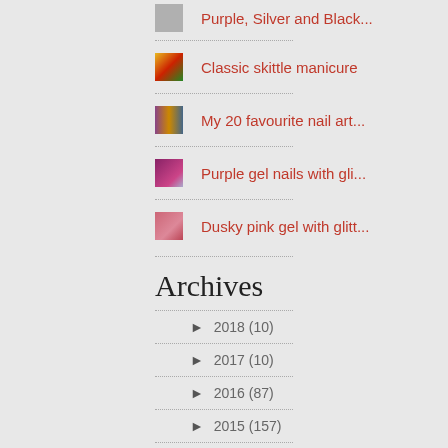Purple, Silver and Black...
Classic skittle manicure
My 20 favourite nail art...
Purple gel nails with gli...
Dusky pink gel with glitt...
Archives
► 2018 (10)
► 2017 (10)
► 2016 (87)
► 2015 (157)
► 2014 (162)
► 2013 (218)
► 2012 (35)